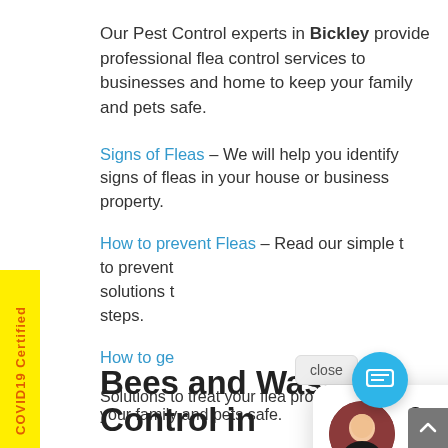Our Pest Control experts in Bickley provide professional flea control services to businesses and home to keep your family and pets safe.
Signs of Fleas – We will help you identify signs of fleas in your house or business property.
How to prevent Fleas – Read our simple t… to prevent solutions t… steps.
How to ge…
Solutions to treat your flea problem and keep your family and pets safe.
[Figure (screenshot): Chat popup with pest control expert avatar and text: Speak to a Pest Control expert right now.. Text here]
Bees and Wasps Control in